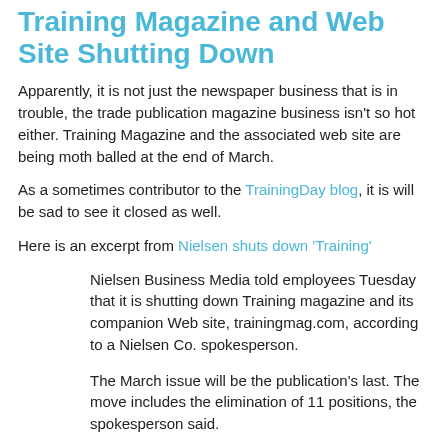Training Magazine and Web Site Shutting Down
Apparently, it is not just the newspaper business that is in trouble, the trade publication magazine business isn't so hot either. Training Magazine and the associated web site are being moth balled at the end of March.
As a sometimes contributor to the TrainingDay blog, it is will be sad to see it closed as well.
Here is an excerpt from Nielsen shuts down 'Training'
Nielsen Business Media told employees Tuesday that it is shutting down Training magazine and its companion Web site, trainingmag.com, according to a Nielsen Co. spokesperson.
The March issue will be the publication's last. The move includes the elimination of 11 positions, the spokesperson said.